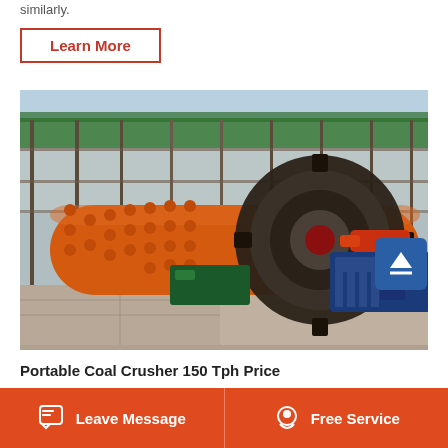similarly.
Learn More
[Figure (photo): Industrial ball mill machinery in a large construction/factory setting. A large orange cylindrical ball mill with a black gear wheel is mounted on concrete blocks. Green and teal motor units and a large blue electric motor are visible. Steel scaffolding and mesh netting form the background structure.]
Portable Coal Crusher 150 Tph Price
Leave Message   Free Service